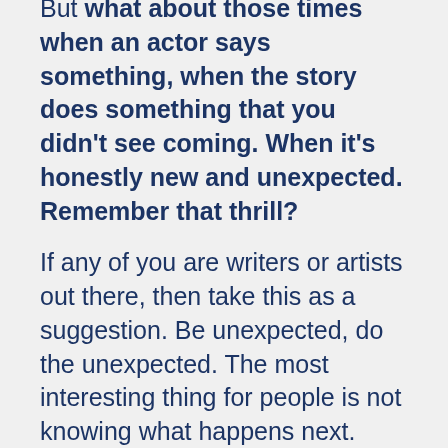But what about those times when an actor says something, when the story does something that you didn't see coming. When it's honestly new and unexpected. Remember that thrill?
If any of you are writers or artists out there, then take this as a suggestion. Be unexpected, do the unexpected. The most interesting thing for people is not knowing what happens next. That's what people watch for. Because if they know what's next… why do they need to bother watching or reading? Maybe there are other reasons, but if there are, you damned well need to deliver something.
I Worship His Shadow? It was